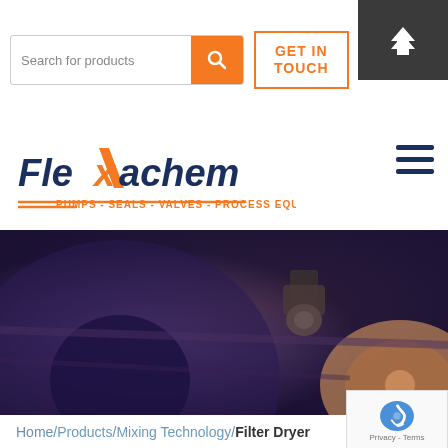[Figure (screenshot): Search bar with orange search button and 'Search for products' placeholder text]
[Figure (screenshot): GET IN TOUCH button with orange border]
[Figure (logo): Flexachem logo with text PUMPS - SEALS - VALVES - PROCESS EQUIPMENT]
[Figure (photo): Close-up industrial machinery photo with purple/orange color overlay showing metal components]
Home/Products/Mixing Technology/Filter Dryer